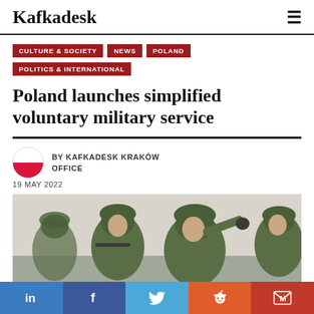Kafkadesk
CULTURE & SOCIETY
NEWS
POLAND
POLITICS & INTERNATIONAL
Poland launches simplified voluntary military service
BY KAFKADESK KRAKÓW OFFICE
19 MAY 2022
[Figure (photo): Polish soldiers in camouflage gear and helmets, one pointing, during a military exercise.]
in | f | Twitter | Reddit | M